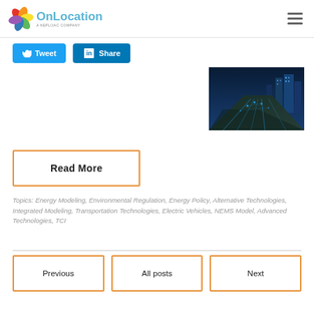OnLocation — A KEPLOAC COMPANY
[Figure (illustration): Social share buttons: Tweet (Twitter, blue) and Share (LinkedIn, blue)]
[Figure (photo): Aerial view of a highway interchange with glowing blue digital network overlay and city skyline]
Read More
Topics: Energy Modeling, Environmental Regulation, Energy Policy, Alternative Technologies, Integrated Modeling, Transportation Technologies, Electric Vehicles, NEMS Model, Advanced Technologies, TCI
Previous | All posts | Next